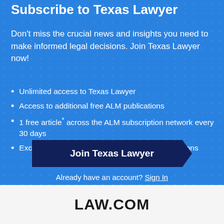Subscribe to Texas Lawyer
Don't miss the crucial news and insights you need to make informed legal decisions. Join Texas Lawyer now!
Unlimited access to Texas Lawyer
Access to additional free ALM publications
1 free article* across the ALM subscription network every 30 days
Exclusive discounts on ALM events and publications
Join Texas Lawyer
Already have an account? Sign In
LAW.COM